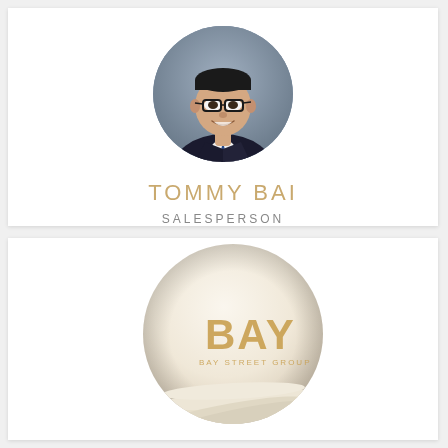[Figure (photo): Circular headshot photo of Tommy Bai, a man wearing glasses, dark suit jacket, white shirt, and blue tie, against a grey background]
TOMMY BAI
SALESPERSON
[Figure (logo): Bay Street Group logo — a cream/white sphere with gold 'BAY' text and 'BAY STREET GROUP' subtitle, with layered pages visible at the bottom of the sphere]